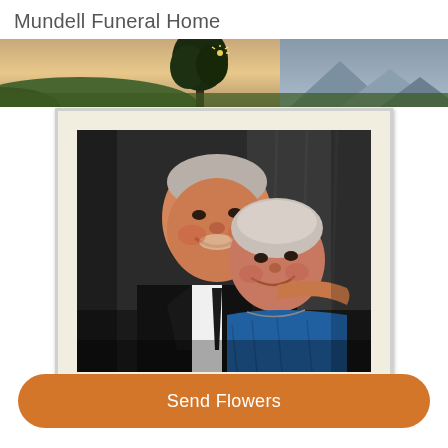Mundell Funeral Home
[Figure (photo): Scenic landscape banner with trees and mountains at dusk/dawn]
[Figure (photo): Framed portrait photo of an elderly couple smiling, man in black suit with arm around woman in blue top]
Send Flowers